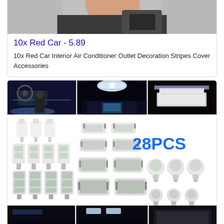[Figure (photo): Partial top image of hands on car interior controls, cropped at top of page]
10x Red Car - 5.89
10x Red Car Interior Air Conditioner Outlet Decoration Stripes Cover Accessories
[Figure (photo): Product listing card with three car interior LED lighting photos on top row, a large composite image showing 28PCS LED bulbs in various types in the middle, and three more car photos in the bottom strip]